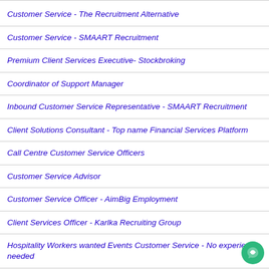Customer Service - The Recruitment Alternative
Customer Service - SMAART Recruitment
Premium Client Services Executive- Stockbroking
Coordinator of Support Manager
Inbound Customer Service Representative - SMAART Recruitment
Client Solutions Consultant - Top name Financial Services Platform
Call Centre Customer Service Officers
Customer Service Advisor
Customer Service Officer - AimBig Employment
Client Services Officer - Karlka Recruiting Group
Hospitality Workers wanted Events Customer Service - No experience needed